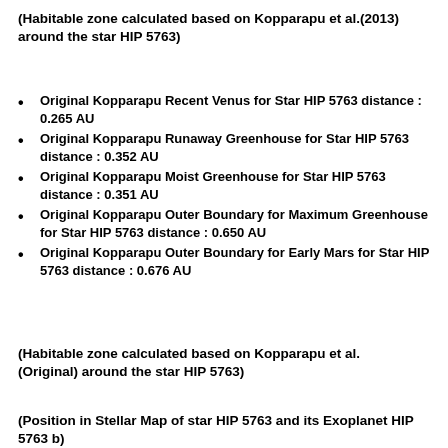(Habitable zone calculated based on Kopparapu et al.(2013) around the star HIP 5763)
Original Kopparapu Recent Venus for Star HIP 5763 distance : 0.265 AU
Original Kopparapu Runaway Greenhouse for Star HIP 5763 distance : 0.352 AU
Original Kopparapu Moist Greenhouse for Star HIP 5763 distance : 0.351 AU
Original Kopparapu Outer Boundary for Maximum Greenhouse for Star HIP 5763 distance : 0.650 AU
Original Kopparapu Outer Boundary for Early Mars for Star HIP 5763 distance : 0.676 AU
(Habitable zone calculated based on Kopparapu et al. (Original) around the star HIP 5763)
(Position in Stellar Map of star HIP 5763 and its Exoplanet HIP 5763 b)